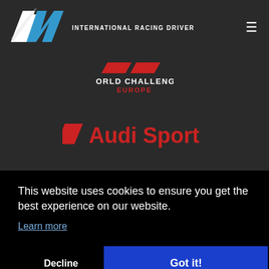[Figure (logo): FH International Racing Driver logo with stylized white and blue F H letters]
INTERNATIONAL RACING DRIVER
[Figure (logo): World Challenge Europe logo with red parallelogram shapes and WORLD CHALLENGE EUROPE text]
[Figure (logo): Audi Sport logo with red parallelogram and Audi Sport text in red]
This website uses cookies to ensure you get the best experience on our website.
Learn more
Decline
Got it!